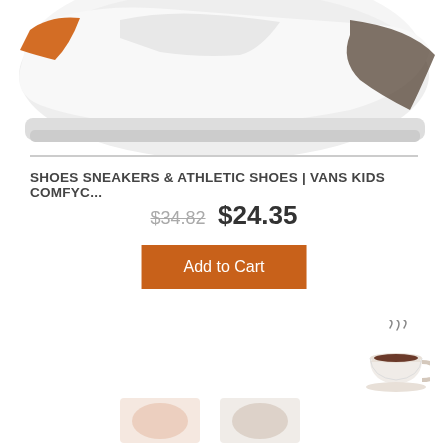[Figure (photo): Partial view of white athletic/sneaker shoes from above, cropped at top of page]
SHOES SNEAKERS & ATHLETIC SHOES | VANS KIDS COMFYC...
$34.82  $24.35
Add to Cart
[Figure (illustration): Coffee cup emoji/illustration with steam in bottom right area, and partially visible product images at bottom]